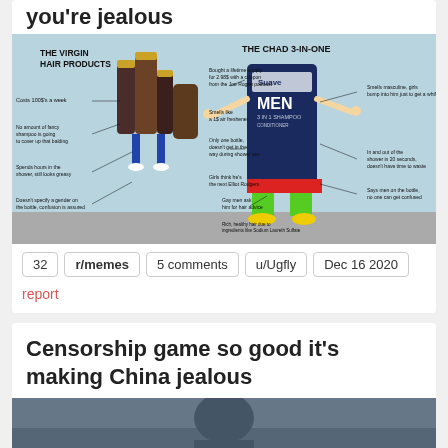you're jealous
[Figure (illustration): Virgin Hair Products vs The Chad 3-In-One meme. Left side shows fancy hair product bottles with legs walking, labeled with negative traits: Costs 100$'s a week, No amount of fancy shampoo is going to cover up that balding, Spends hours in the shower still looks greasy, Doesn't specify a gender on the bottle confusion is assured. Right side shows an anthropomorphic Suave Men 3-in-1 shampoo bottle with muscular green legs and yellow boots labeled with positive traits: Bought a lifetime supply for 2.98$ with a coupon from the Joe Rogan podcast, Smells like a 1$ air freshener, Only one bottle doesn't get in the way during shower sex, Girls think he's the next Elliot Rodgers, Gay men ask him for hair advice, Rich healthy hair due to ingredients like Sodium Laureth Sulfate, Smells masculine girls bump into him just to get a whiff, In and out of the shower in 20 seconds doesn't have time to waste, Says men on the bottle no one can get confused.]
32  r/memes  5 comments  u/Ugfly  Dec 16 2020
report
Censorship game so good it's making China jealous
[Figure (photo): Partial image of a scene related to China censorship, mostly cut off at bottom of page.]